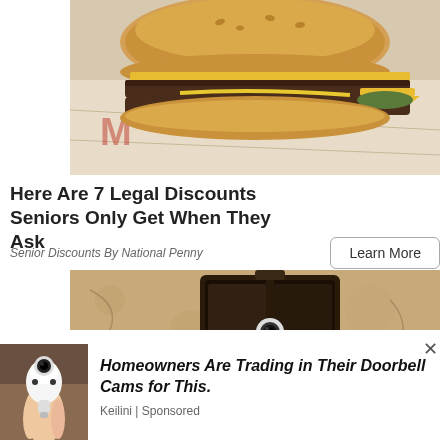[Figure (photo): A double cheeseburger with yellow mustard and pickles, sitting on fast food wrapper paper, photographed from the side]
Here Are 7 Legal Discounts Seniors Only Get When They Ask
Senior Discounts By National Penny
[Figure (photo): An outdoor wall-mounted lantern light fixture on a textured beige stucco wall, with a white bottle-shaped camera bulb inserted into it]
[Figure (photo): A hand holding a white bottle-shaped smart security camera bulb against a blurred background]
Homeowners Are Trading in Their Doorbell Cams for This.
Keilini | Sponsored